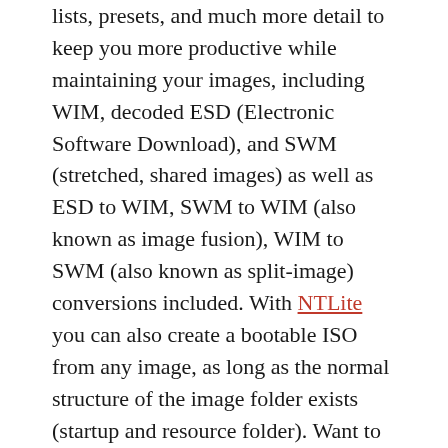lists, presets, and much more detail to keep you more productive while maintaining your images, including WIM, decoded ESD (Electronic Software Download), and SWM (stretched, shared images) as well as ESD to WIM, SWM to WIM (also known as image fusion), WIM to SWM (also known as split-image) conversions included. With NTLite you can also create a bootable ISO from any image, as long as the normal structure of the image folder exists (startup and resource folder). Want to edit a Windows 10 image of Windows 7 as a supported host? You can support images in almost any host combination.
NTLite Keygen is a Windows driver app that allows you to edit Windows installation images 'offline' or 'live'. The 'live' edit mode is a unique feature that allows you to modify already installed Windows operating